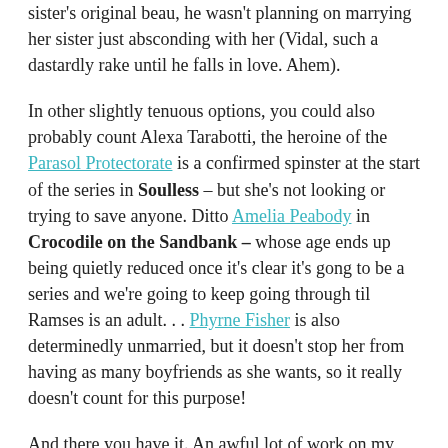sister's original beau, he wasn't planning on marrying her sister just absconding with her (Vidal, such a dastardly rake until he falls in love. Ahem).
In other slightly tenuous options, you could also probably count Alexa Tarabotti, the heroine of the Parasol Protectorate is a confirmed spinster at the start of the series in Soulless – but she's not looking or trying to save anyone. Ditto Amelia Peabody in Crocodile on the Sandbank – whose age ends up being quietly reduced once it's clear it's gong to be a series and we're going to keep going through til Ramses is an adult. . . Phyrne Fisher is also determinedly unmarried, but it doesn't stop her from having as many boyfriends as she wants, so it really doesn't count for this purpose!
And there you have it. An awful lot of work on my part, for not